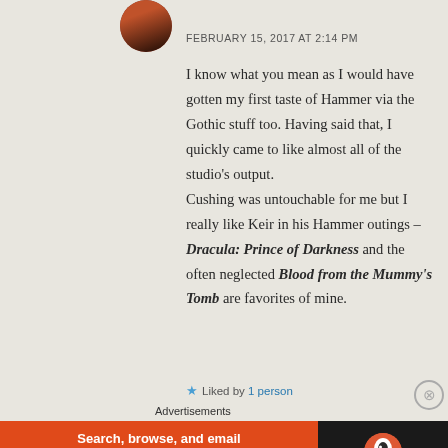[Figure (photo): Circular avatar image of a person, partially visible at top of page]
FEBRUARY 15, 2017 AT 2:14 PM
I know what you mean as I would have gotten my first taste of Hammer via the Gothic stuff too. Having said that, I quickly came to like almost all of the studio's output.
Cushing was untouchable for me but I really like Keir in his Hammer outings – Dracula: Prince of Darkness and the often neglected Blood from the Mummy's Tomb are favorites of mine.
Liked by 1 person
Advertisements
[Figure (screenshot): DuckDuckGo advertisement banner: orange section with text 'Search, browse, and email with more privacy. All in One Free App' and dark section with DuckDuckGo logo]